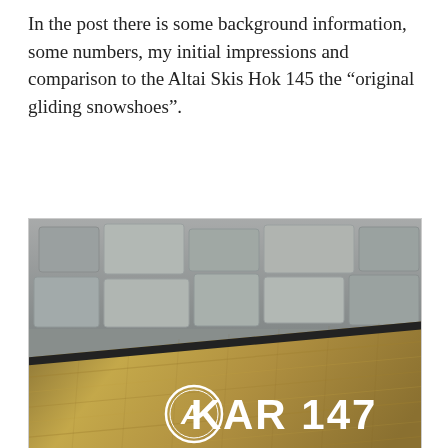In the post there is some background information, some numbers, my initial impressions and comparison to the Altai Skis Hok 145 the “original gliding snowshoes”.
[Figure (photo): Close-up photograph of a wooden ski or snowshoe labeled 'KAR 147 Handmade in Fir and...' with a logo on it, lying on a stone surface.]
Privacy & Cookies: This site uses cookies. By continuing to use this website, you agree to their use.
To find out more, including how to control cookies, see here: Cookie Policy